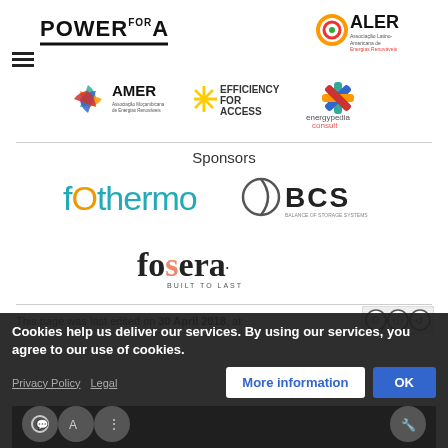[Figure (logo): Power For All logo — bold uppercase text with 'FOR' superscript, underlined]
[Figure (logo): ALER logo — colorful spiral icon with ALER text and subtitle]
[Figure (logo): AMER logo — colorful pinwheel icon with AMER text]
[Figure (logo): Efficiency For Access logo — yellow ray burst icon with text]
[Figure (logo): energypedia consult logo — colorful asterisk/star icon]
Sponsors
[Figure (logo): fOthermo logo — stylized lowercase text in teal/green]
[Figure (logo): BCS Balance of Storage Systems logo — circular icon with BCS text]
[Figure (logo): fosera. BUILT TO LAST logo — dark stylized text]
This page was last edited on 30 April 2018, at
Cookies help us deliver our services. By using our services, you agree to our use of cookies.
Privacy Policy   Legal